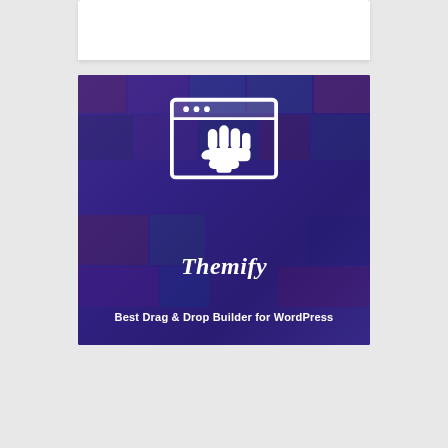[Figure (logo): Themify brand logo image with a purple/dark-blue mosaic background showing various WordPress theme screenshots overlaid. In the center is a white line-art icon of a browser window with a dragging fist hand icon inside it. Below the icon is the Themify logo text in white italic script. At the bottom of the image is the tagline 'Best Drag & Drop Builder for WordPress' in white bold text.]